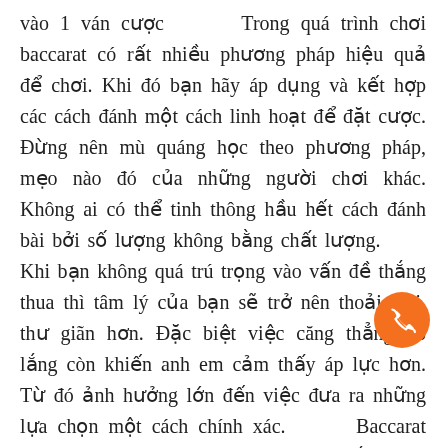vào 1 ván cược      Trong quá trình chơi baccarat có rất nhiều phương pháp hiệu quả để chơi. Khi đó bạn hãy áp dụng và kết hợp các cách đánh một cách linh hoạt để đặt cược. Đừng nên mù quáng học theo phương pháp, mẹo nào đó của những người chơi khác. Không ai có thể tinh thông hầu hết cách đánh bài bởi số lượng không bằng chất lượng.      Khi bạn không quá trú trọng vào vấn đề thắng thua thì tâm lý của bạn sẽ trở nên thoải mái, thư giãn hơn. Đặc biệt việc căng thẳng, lo lắng còn khiến anh em cảm thấy áp lực hơn. Từ đó ảnh hưởng lớn đến việc đưa ra những lựa chọn một cách chính xác.      Baccarat online là một trò chơi đỏ đen nê... thắng hay thua cũng đừng để nó ảnh hưởng quá ... đến bản thân. Nếu như không may thua thì ván sau bạn có thể gỡ lại bằng nhiều cách. Thay vào đó hãy nghi ngơi thật tốt và tìm những hình thức giải trí khác để đời
[Figure (other): Orange circular phone/call button icon in the bottom-right area of the text]